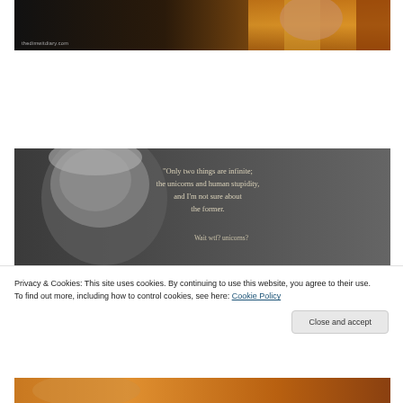[Figure (photo): Top partial photo of a person in orange/yellow robes against dark background, with watermark 'thedimwitdiary.com']
[Figure (photo): Black and white photo of Albert Einstein with quote overlay: '"Only two things are infinite; the unicorns and human stupidity, and I'm not sure about the former." Wait wtf? unicorns?']
Privacy & Cookies: This site uses cookies. By continuing to use this website, you agree to their use.
To find out more, including how to control cookies, see here: Cookie Policy
Close and accept
[Figure (photo): Bottom partial strip of another image with warm orange/red tones]